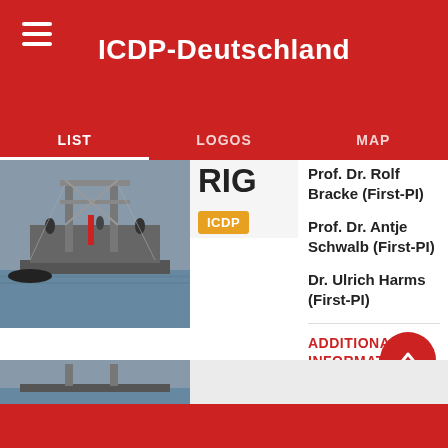ICDP-Deutschland
LIST | LOGOS | MAP
[Figure (photo): A drilling rig platform on water with people working on it, grey/overcast conditions]
RIG
ICDP
Prof. Dr. Rolf Bracke (First-PI)
Prof. Dr. Antje Schwalb (First-PI)
Dr. Ulrich Harms (First-PI)
ADDITIONAL INFORMATION